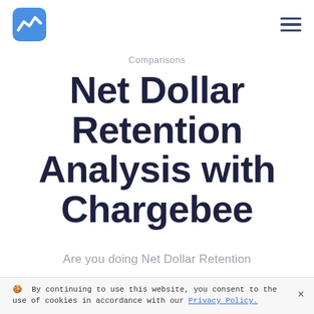[logo] [hamburger menu]
Comparisons
Net Dollar Retention Analysis with Chargebee
Are you doing Net Dollar Retention
🍪 By continuing to use this website, you consent to the use of cookies in accordance with our Privacy Policy.